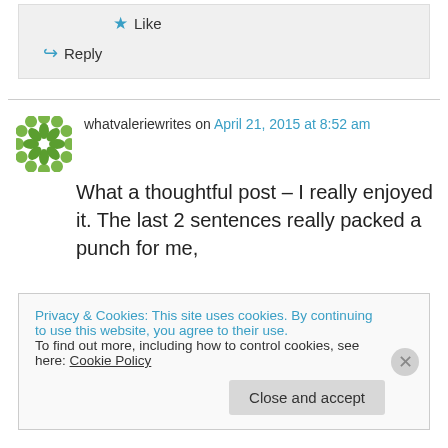Like
Reply
whatvaleriewrites on April 21, 2015 at 8:52 am
What a thoughtful post – I really enjoyed it. The last 2 sentences really packed a punch for me,
Privacy & Cookies: This site uses cookies. By continuing to use this website, you agree to their use.
To find out more, including how to control cookies, see here: Cookie Policy
Close and accept